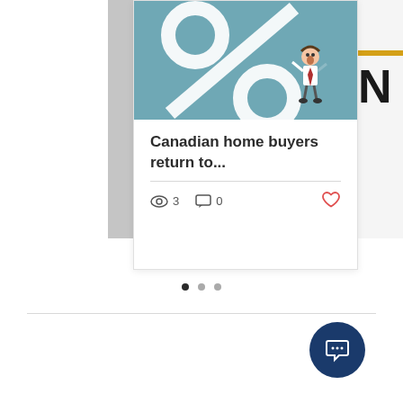[Figure (illustration): Teal/blue illustration showing a large percent sign (%) with a small cartoon businessman figure standing next to it, looking surprised or concerned. Left side shows partial dark image strip. Right side shows partial card with yellow bar and letter N.]
Canadian home buyers return to...
3 views · 0 comments · like button
[Figure (other): Pagination dots: one filled dark dot and two lighter dots indicating a carousel position]
[Figure (other): Dark blue circular chat/message button in bottom right corner]